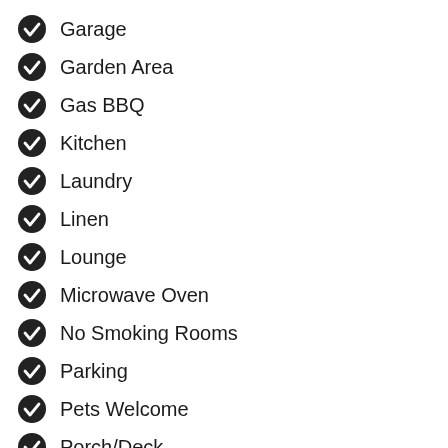Garage
Garden Area
Gas BBQ
Kitchen
Laundry
Linen
Lounge
Microwave Oven
No Smoking Rooms
Parking
Pets Welcome
Porch/Deck
Refrigerator